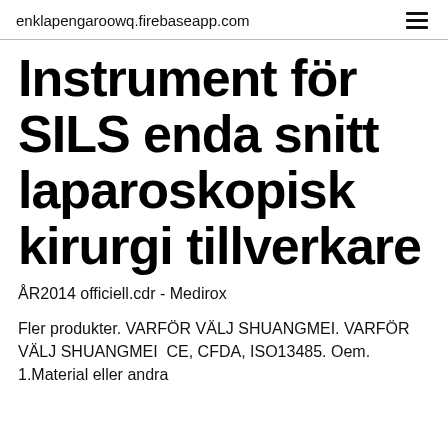enklapengaroowq.firebaseapp.com
Instrument för SILS enda snitt laparoskopisk kirurgi tillverkare
ÅR2014 officiell.cdr - Medirox
Fler produkter. VARFÖR VÄLJ SHUANGMEI. VARFÖR VÄLJ SHUANGMEI  CE, CFDA, ISO13485. Oem. 1.Material eller andra